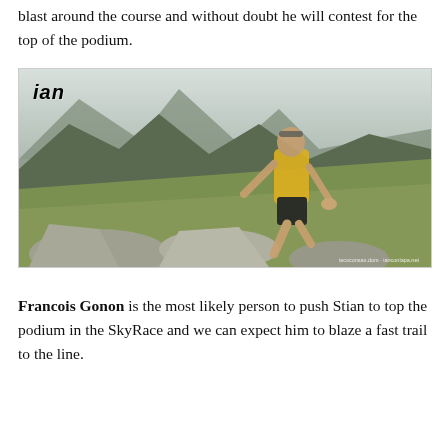blast around the course and without doubt he will contest for the top of the podium.
[Figure (photo): A trail runner wearing a yellow vest and black shorts, bending forward scrambling up a rocky hillside in an alpine mountain landscape with green grass and rocky terrain. The word 'ian' appears in bold italic text in the upper left corner. Photo credit text visible in lower right corner.]
Francois Gonon is the most likely person to push Stian to top the podium in the SkyRace and we can expect him to blaze a fast trail to the line.